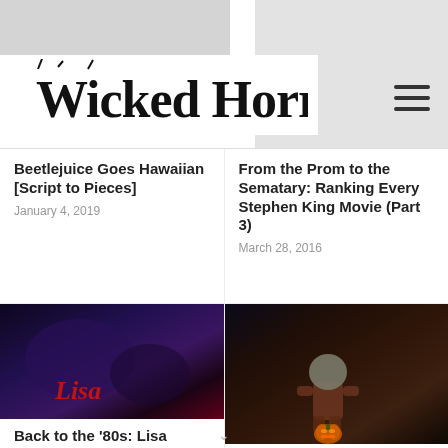Wicked Horror
Beetlejuice Goes Hawaiian [Script to Pieces]
January 4, 2019
From the Prom to the Sematary: Ranking Every Stephen King Movie (Part 3)
March 28, 2016
[Figure (photo): Movie still from Lisa (1990) — dark purple/blue cinematic image with red stylized 'Lisa' script text]
Back to the '80s: Lisa
July 3, 2017
[Figure (photo): Halloween-themed photo — child wearing pumpkin/burlap sack on head, sitting with a carved jack-o'-lantern in a dark forest setting]
Halloween Public Service Announcement